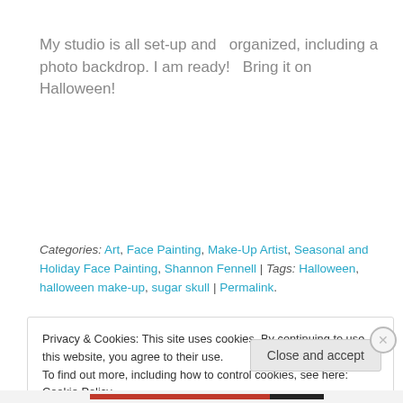My studio is all set-up and organized, including a photo backdrop. I am ready!  Bring it on Halloween!
Categories: Art, Face Painting, Make-Up Artist, Seasonal and Holiday Face Painting, Shannon Fennell | Tags: Halloween, halloween make-up, sugar skull | Permalink.
Privacy & Cookies: This site uses cookies. By continuing to use this website, you agree to their use.
To find out more, including how to control cookies, see here: Cookie Policy
Close and accept